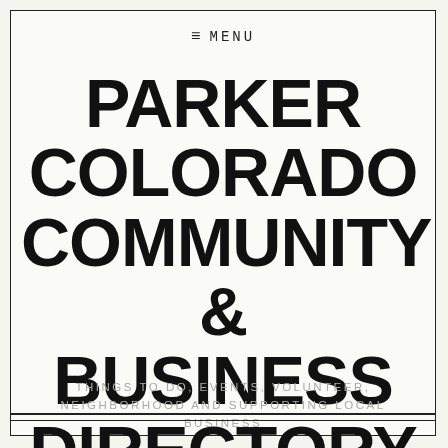≡ MENU
PARKER COLORADO COMMUNITY & BUSINESS DIRECTORY
THINGS TO DO, EVENTS, VOLUNTEER, NEIGHBORHOOD AND SUPPORTING LOCAL BUSINESS